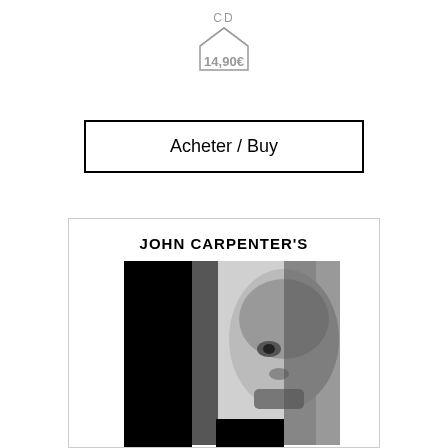[Figure (logo): CD home/house icon with price 14,90€ below it]
Acheter / Buy
[Figure (photo): John Carpenter's album cover with large Roman numeral II in black and a face peering between the letters]